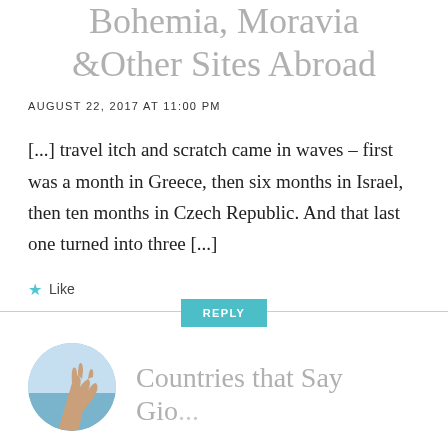Bohemia, Moravia &Other Sites Abroad
AUGUST 22, 2017 AT 11:00 PM
[...] travel itch and scratch came in waves – first was a month in Greece, then six months in Israel, then ten months in Czech Republic. And that last one turned into three [...]
Like
REPLY
[Figure (photo): Circular avatar photo showing a hand raised against a blue sky and sea background]
Countries that Say Gio...